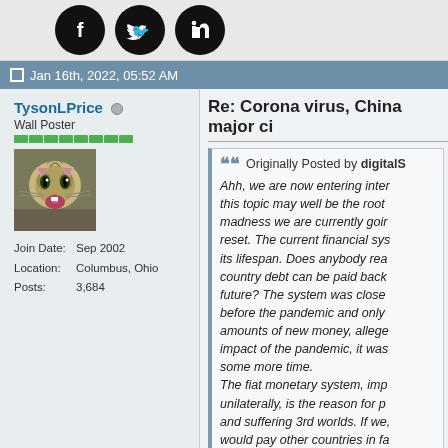[Figure (other): Social media share icons: Facebook, Twitter, LinkedIn as black circles]
Jan 16th, 2022, 05:52 AM
TysonLPrice (online indicator)
Wall Poster
[Figure (photo): Avatar photo of a cat with mouth open]
Join Date: Sep 2002
Location: Columbus, Ohio
Posts: 3,684
Re: Corona virus, China major ci
Originally Posted by digitalS
Ahh, we are now entering inter this topic may well be the root madness we are currently goir reset. The current financial sys its lifespan. Does anybody rea country debt can be paid back future? The system was close before the pandemic and only amounts of new money, allege impact of the pandemic, it was some more time.
The fiat monetary system, imp unilaterally, is the reason for p and suffering 3rd worlds. If we, would pay other countries in fa over time, lower our living star theirs.
Some theories also link the afc